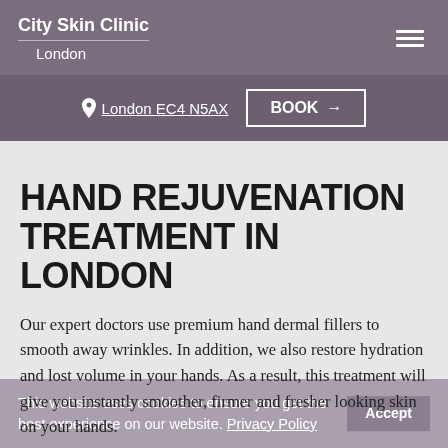City Skin Clinic London
London EC4 N5AX   BOOK →
HAND REJUVENATION TREATMENT IN LONDON
Our expert doctors use premium hand dermal fillers to smooth away wrinkles. In addition, we also restore hydration and lost volume in your hands. As a result, this treatment will give you instantly smoother, firmer and fresher looking skin on your hands.
This website uses cookies to ensure you get the best experience on our website. Privacy Policy